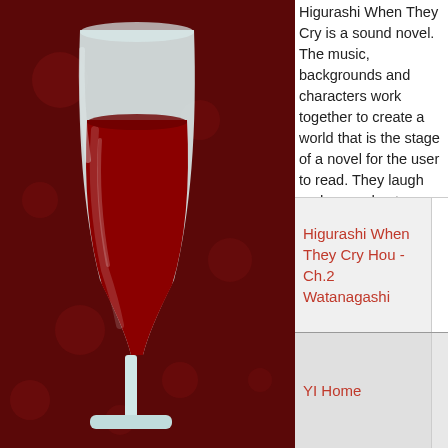[Figure (illustration): Wine glass with red wine on a dark red background with subtle decorative pattern]
Higurashi When They Cry is a sound novel. The music, backgrounds and characters work together to create a world that is the stage of a novel for the user to read. They laugh and cry and get angry. The user takes the point of view of the protagonist to experience the story.
| Name | ID | Description |
| --- | --- | --- |
| Higurashi When They Cry Hou - Ch.2 Watanagashi | 18934 | Higurashi When They Cry is a sound novel. The music, backgrounds and characters work together to create a world that is the stage of a novel for the user to read. They laugh and cry and get angry. The user takes the point of view of the protagonist to experience the story. |
| YI Home | 18925 | Manage and see live feed from your YI security cameras. |